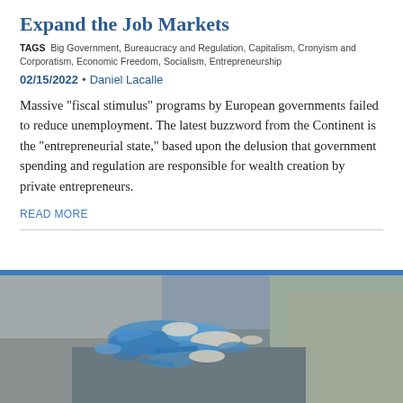Expand the Job Markets
TAGS  Big Government, Bureaucracy and Regulation, Capitalism, Cronyism and Corporatism, Economic Freedom, Socialism, Entrepreneurship
02/15/2022 • Daniel Lacalle
Massive "fiscal stimulus" programs by European governments failed to reduce unemployment. The latest buzzword from the Continent is the "entrepreneurial state," based upon the delusion that government spending and regulation are responsible for wealth creation by private entrepreneurs.
READ MORE
[Figure (photo): Discarded blue face masks and personal protective equipment littered on the ground near rocks]